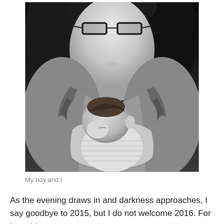[Figure (photo): Black and white photograph of a woman wearing glasses holding a newborn baby against her chest. The baby is dressed in a striped onesie and sleeping with its head resting near the woman's chest. The woman is wearing a patterned top with ruffled straps.]
My boy and I
As the evening draws in and darkness approaches, I say goodbye to 2015, but I do not welcome 2016. For I would